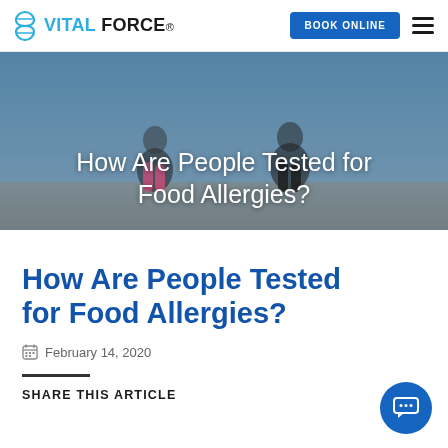VITAL FORCE® | BOOK ONLINE
[Figure (photo): Two women in athletic wear outdoors against a sky background, used as hero banner image.]
How Are People Tested for Food Allergies?
How Are People Tested for Food Allergies?
February 14, 2020
SHARE THIS ARTICLE